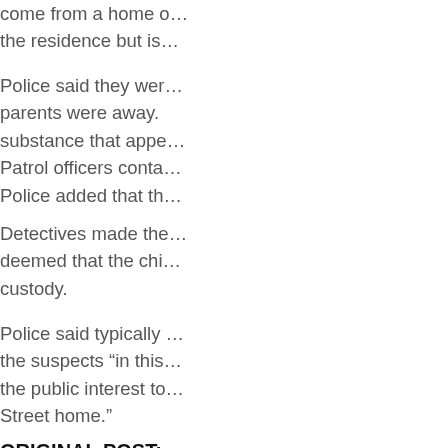come from a home o… the residence but is…
Police said they were… parents were away. substance that appe… Patrol officers conta… Police added that th…
Detectives made the… deemed that the chi… custody.
Police said typically… the suspects “in this… the public interest to… Street home.”
ORIGINAL POST:
[Figure (photo): Marijuana advocate photo. Josh, center right.]
ANDREW CRIS…
Marijuana advo…